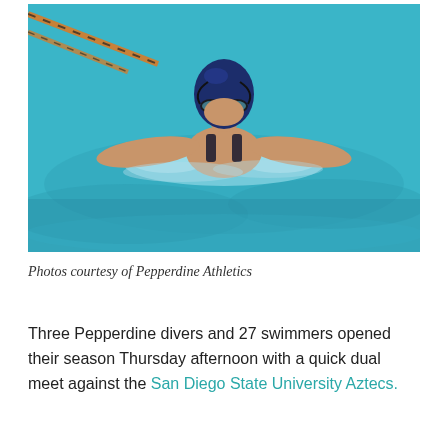[Figure (photo): A swimmer wearing a dark blue swim cap and goggles performing the butterfly stroke in a blue outdoor pool. Lane dividers with orange and black colors are visible on the left. Water splashes around the swimmer's arms and chest.]
Photos courtesy of Pepperdine Athletics
Three Pepperdine divers and 27 swimmers opened their season Thursday afternoon with a quick dual meet against the San Diego State University Aztecs.